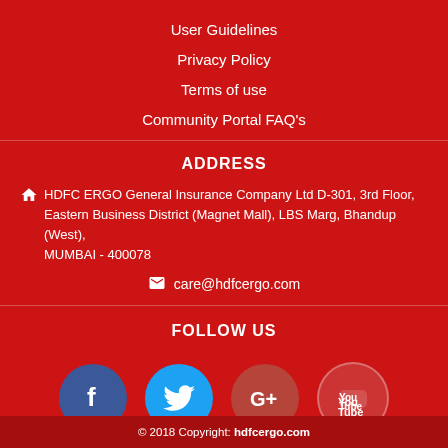User Guidelines
Privacy Policy
Terms of use
Community Portal FAQ's
ADDRESS
HDFC ERGO General Insurance Company Ltd D-301, 3rd Floor, Eastern Business District (Magnet Mall), LBS Marg, Bhandup (West), MUMBAI - 400078
care@hdfcergo.com
FOLLOW US
[Figure (infographic): Social media icons: Facebook (blue circle with f), Twitter (light blue circle with bird), Google+ (brown/red circle with G+), YouTube (red circle with play icon)]
© 2018 Copyright: hdfcergo.com